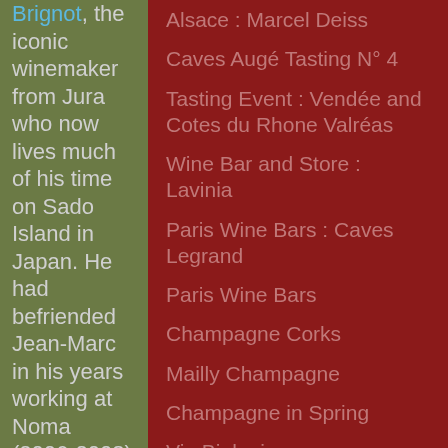Brignot, the iconic winemaker from Jura who now lives much of his time on Sado Island in Japan. He had befriended Jean-Marc in his years working at Noma (2006-2008) where he was a sommelier. where Anders recounted how they went
Alsace : Marcel Deiss
Caves Augé Tasting N° 4
Tasting Event : Vendée and Cotes du Rhone Valréas
Wine Bar and Store : Lavinia
Paris Wine Bars : Caves Legrand
Paris Wine Bars
Champagne Corks
Mailly Champagne
Champagne in Spring
Vin Biologique
Brasserie Flo (Paris)
Percee du Vin Jaune (Jura)
Chalon Tasting House